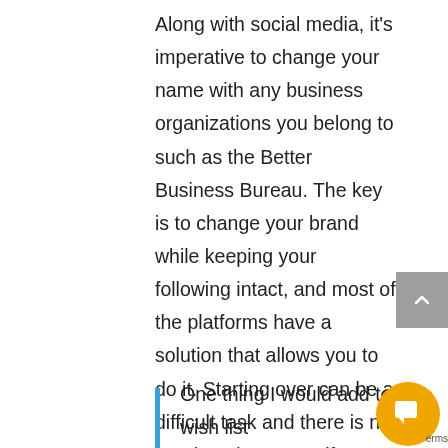Along with social media, it's imperative to change your name with any business organizations you belong to such as the Better Business Bureau. The key is to change your brand while keeping your following intact, and most of the platforms have a solution that allows you to do it. Starting over can be a difficult task and there is no need to give yourself more work. Reading the fine print of these tools is also crucial and cannot be avoided.
One thing I would add to the wish list